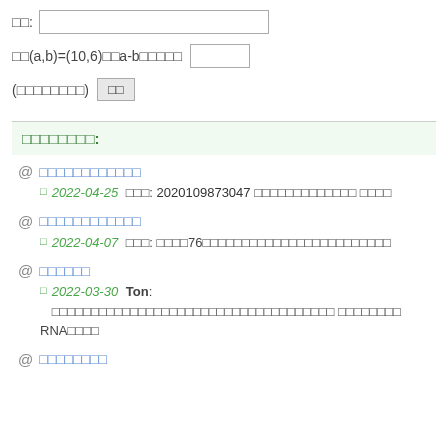□□: [input field]
□□(a,b)=(10,6)□□a-b□□□□□ [input field]
(□□□□□□□□) [button: □□]
□□□□□□□□:
@ □□□□□□□□□□□□
  □ 2022-04-25 □□□: 2020109873047 □□□□□□□□□□□□□ □□□□
@ □□□□□□□□□□□□
  □ 2022-04-07 □□□: □□□□76□□□□□□□□□□□□□□□□□□□□□□□□
@ □□□□□□
  □ 2022-03-30 Ton: □□□□□□□□□□□□□□□□□□□□□□□□□□□□□□□□□□□□ □□□□□□□□
RNA□□□□
@ □□□□□□□□